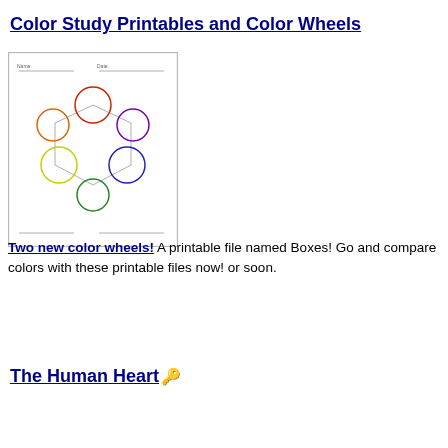Color Study Printables and Color Wheels
[Figure (illustration): A printable color wheel worksheet showing 6 circles arranged in a hexagonal pattern, each outlined in a different color: red at top, purple at top-right, blue at bottom-right, green at bottom, yellow at bottom-left, and orange at left. The circles are connected by lines. Small text lines appear at top and bottom of the worksheet.]
Two new color wheels! A printable file named Boxes! Go and compare colors with these printable files now! or soon.
The Human Heart 🗝